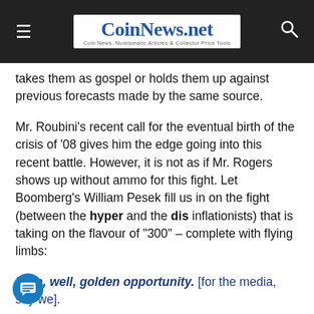CoinNews.net — Coin News, Numismatic Articles & Collector Price Tools
takes them as gospel or holds them up against previous forecasts made by the same source.
Mr. Roubini's recent call for the eventual birth of the crisis of '08 gives him the edge going into this recent battle. However, it is not as if Mr. Rogers shows up without ammo for this fight. Let Boomberg's William Pesek fill us in on the fight (between the hyper and the dis inflationists) that is taking on the flavour of "300" – complete with flying limbs:
It's a, well, golden opportunity. [for the media, say we].
Investor Jim Rogers thinks gold will double to at least 00 an ounce. Economist Nouriel Roubini says that's "utter nonsense." As these well-known market